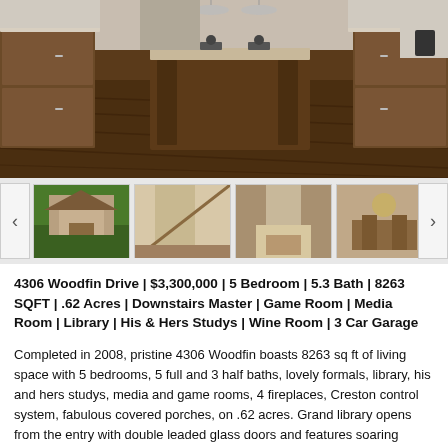[Figure (photo): Interior kitchen photo showing large dark wood island with bar stools, dark hardwood floors, custom cabinetry, and stainless appliances]
[Figure (photo): Thumbnail strip with 7 property photos showing exterior, staircase, living room, dining room, wine cellar, other rooms]
4306 Woodfin Drive | $3,300,000 | 5 Bedroom | 5.3 Bath | 8263 SQFT | .62 Acres | Downstairs Master | Game Room | Media Room | Library | His & Hers Studys | Wine Room | 3 Car Garage
Completed in 2008, pristine 4306 Woodfin boasts 8263 sq ft of living space with 5 bedrooms, 5 full and 3 half baths, lovely formals, library, his and hers studys, media and game rooms, 4 fireplaces, Creston control system, fabulous covered porches, on .62 acres. Grand library opens from the entry with double leaded glass doors and features soaring coffered ceilings, hardwood floors and built-in…